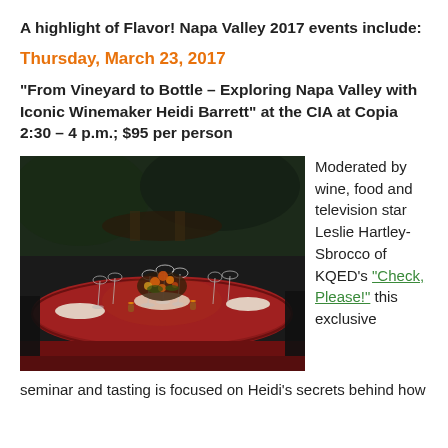A highlight of Flavor! Napa Valley 2017 events include:
Thursday, March 23, 2017
“From Vineyard to Bottle – Exploring Napa Valley with Iconic Winemaker Heidi Barrett” at the CIA at Copia 2:30 – 4 p.m.; $95 per person
[Figure (photo): Elegant restaurant table setting with wine glasses, floral centerpieces, and red tablecloths in a dimly lit venue]
Moderated by wine, food and television star Leslie Hartley-Sbrocco of KQED’s “Check, Please!” this exclusive seminar and tasting is focused on Heidi’s secrets behind how